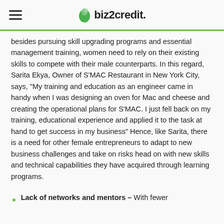biz2credit
besides pursuing skill upgrading programs and essential management training, women need to rely on their existing skills to compete with their male counterparts. In this regard, Sarita Ekya, Owner of S'MAC Restaurant in New York City, says, “My training and education as an engineer came in handy when I was designing an oven for Mac and cheese and creating the operational plans for S’MAC. I just fell back on my training, educational experience and applied it to the task at hand to get success in my business” Hence, like Sarita, there is a need for other female entrepreneurs to adapt to new business challenges and take on risks head on with new skills and technical capabilities they have acquired through learning programs.
Lack of networks and mentors – With fewer